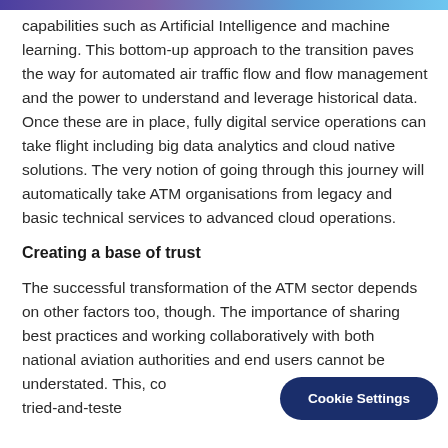capabilities such as Artificial Intelligence and machine learning. This bottom-up approach to the transition paves the way for automated air traffic flow and flow management and the power to understand and leverage historical data. Once these are in place, fully digital service operations can take flight including big data analytics and cloud native solutions. The very notion of going through this journey will automatically take ATM organisations from legacy and basic technical services to advanced cloud operations.
Creating a base of trust
The successful transformation of the ATM sector depends on other factors too, though. The importance of sharing best practices and working collaboratively with both national aviation authorities and end users cannot be understated. This, co approaches and tried-and-teste